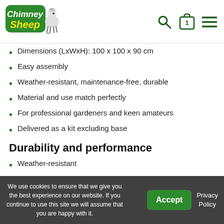Chimney Sheep logo with navigation icons (search, cart with 1 item, menu)
Dimensions (LxWxH): 100 x 100 x 90 cm
Easy assembly
Weather-resistant, maintenance-free, durable
Material and use match perfectly
For professional gardeners and keen amateurs
Delivered as a kit excluding base
Durability and performance
Weather-resistant
Rot-resistant
Splinter-free, therefore low risk of injury
We use cookies to ensure that we give you the best experience on our website. If you continue to use this site we will assume that you are happy with it.